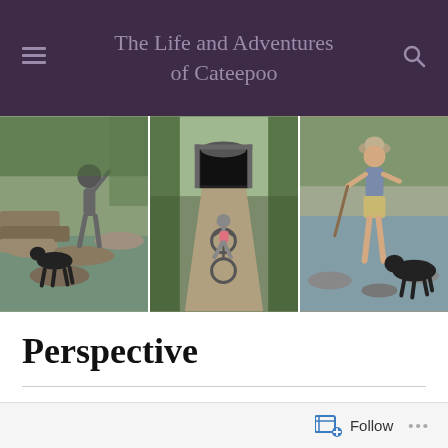The Life and Adventures of Cateepoo
[Figure (photo): Three outdoor adventure photos side by side: left shows a person and dog on rocky stepping stones in a creek; center shows a cyclist approaching a dark tunnel on a gravel trail; right shows a woman wading in a river with a dog.]
Perspective
ON DECEMBER 27, 2016 / BY CATHY KRAMER
Follow ...